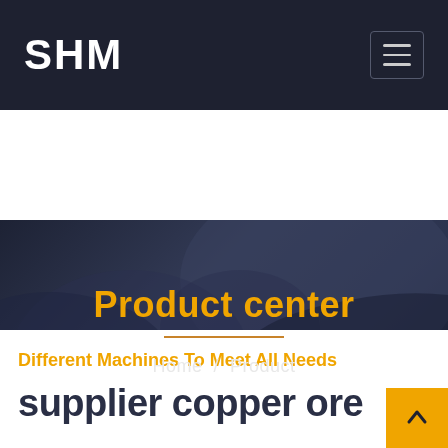SHM
Product center
Home / Product
Different Machines To Meet All Needs
supplier copper ore ball mill